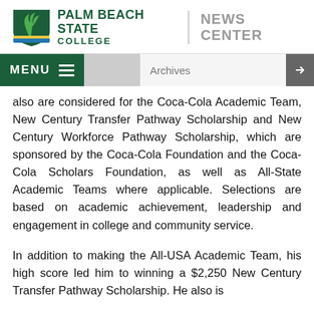[Figure (logo): Palm Beach State College logo with green shield/leaf and blue accent, text 'PALM BEACH STATE COLLEGE' and 'NEWS CENTER']
MENU  ☰   Archives
also are considered for the Coca-Cola Academic Team, New Century Transfer Pathway Scholarship and New Century Workforce Pathway Scholarship, which are sponsored by the Coca-Cola Foundation and the Coca-Cola Scholars Foundation, as well as All-State Academic Teams where applicable. Selections are based on academic achievement, leadership and engagement in college and community service.
In addition to making the All-USA Academic Team, his high score led him to winning a $2,250 New Century Transfer Pathway Scholarship. He also is